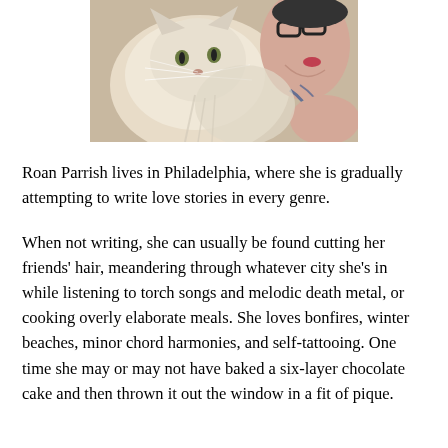[Figure (photo): A close-up photo of a fluffy light-colored cat nuzzling against a person who has tattoos visible on their arm/shoulder, wearing glasses.]
Roan Parrish lives in Philadelphia, where she is gradually attempting to write love stories in every genre.
When not writing, she can usually be found cutting her friends' hair, meandering through whatever city she's in while listening to torch songs and melodic death metal, or cooking overly elaborate meals. She loves bonfires, winter beaches, minor chord harmonies, and self-tattooing. One time she may or may not have baked a six-layer chocolate cake and then thrown it out the window in a fit of pique.